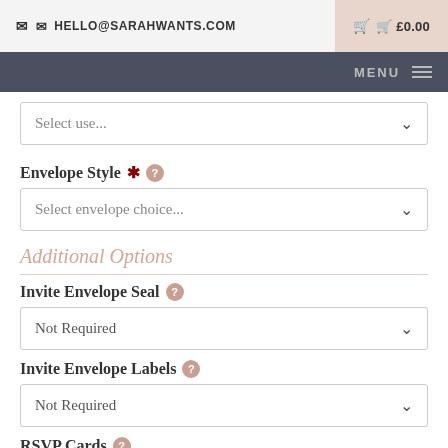HELLO@SARAHWANTS.COM  £0.00  MENU
Select use...
Envelope Style *
Select envelope choice...
Additional Options
Invite Envelope Seal
Not Required
Invite Envelope Labels
Not Required
RSVP Cards